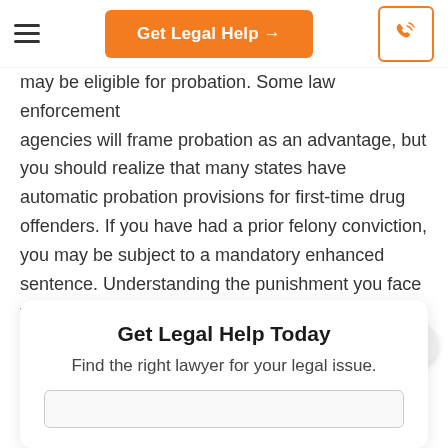Get Legal Help →
may be eligible for probation. Some law enforcement agencies will frame probation as an advantage, but you should realize that many states have automatic probation provisions for first-time drug offenders. If you have had a prior felony conviction, you may be subject to a mandatory enhanced sentence. Understanding the punishment you face will help you determine whether or not you are being offered a good deal for informing.
Get Legal Help Today
Find the right lawyer for your legal issue.